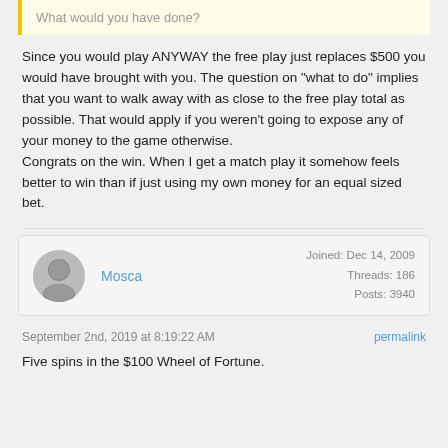What would you have done?
Since you would play ANYWAY the free play just replaces $500 you would have brought with you. The question on "what to do" implies that you want to walk away with as close to the free play total as possible. That would apply if you weren't going to expose any of your money to the game otherwise.
Congrats on the win. When I get a match play it somehow feels better to win than if just using my own money for an equal sized bet.
Mosca
Joined: Dec 14, 2009
Threads: 186
Posts: 3940
September 2nd, 2019 at 8:19:22 AM
permalink
Five spins in the $100 Wheel of Fortune.